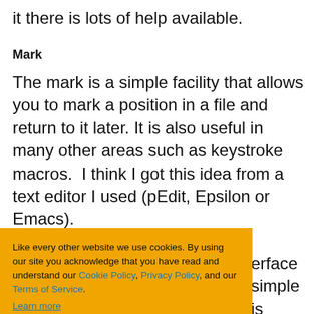it there is lots of help available.
Mark
The mark is a simple facility that allows you to mark a position in a file and return to it later. It is also useful in many other areas such as keystroke macros.  I think I got this idea from a text editor I used (pEdit, Epsilon or Emacs).
Like every other website we use cookies. By using our site you acknowledge that you have read and understand our Cookie Policy, Privacy Policy, and our Terms of Service. Learn more
Ask me later    Decline    Allow cookies
erface simple is
es may not be
es extensive
verview,
ltips, tip of the